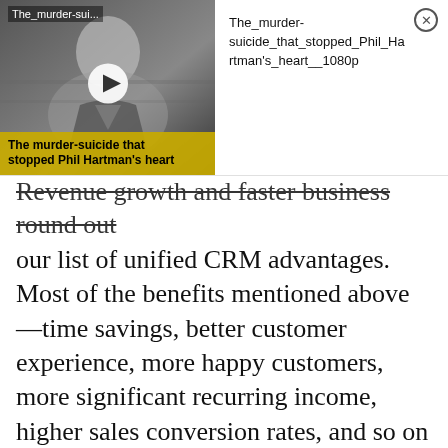[Figure (screenshot): Video popup overlay showing a black and white thumbnail of a man with a play button, title 'The_murder-sui...' at top left, and text title 'The_murder-suicide_that_stopped_Phil_Hartman's_heart__1080p' on the right panel, with a close (X) button]
Revenue growth and faster business round out our list of unified CRM advantages. Most of the benefits mentioned above—time savings, better customer experience, more happy customers, more significant recurring income, higher sales conversion rates, and so on—add to quicker revenue growth, more reliable company growth, and more dependable recurring revenue.

When you use a unified CRM to unify teams and better serve your customers, your company will